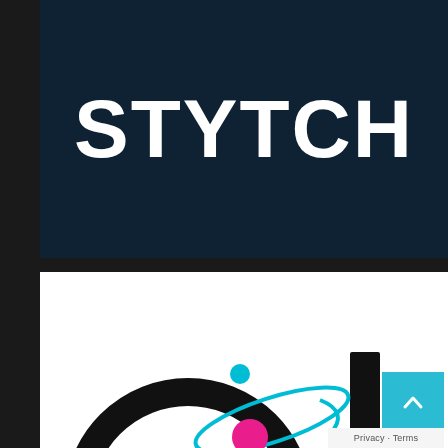[Figure (logo): Stytch logo: white bold text 'STYTCH' on dark navy blue background]
[Figure (illustration): Abstract illustration showing a circular orbit/planet graphic with cyan and magenta/pink colors on white background, partially visible. A teal scroll-to-top button with upward chevron arrow overlaid in bottom-right, with 'Privacy · Terms' bar below it.]